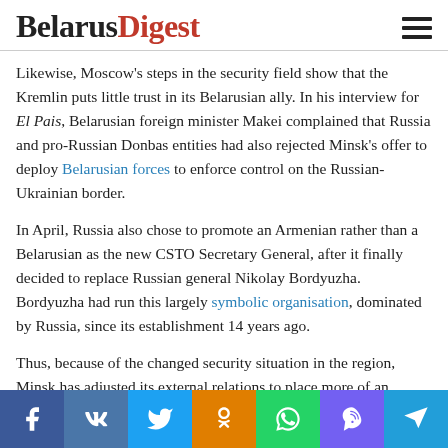BelarusDigest
Likewise, Moscow's steps in the security field show that the Kremlin puts little trust in its Belarusian ally. In his interview for El Pais, Belarusian foreign minister Makei complained that Russia and pro-Russian Donbas entities had also rejected Minsk's offer to deploy Belarusian forces to enforce control on the Russian-Ukrainian border.
In April, Russia also chose to promote an Armenian rather than a Belarusian as the new CSTO Secretary General, after it finally decided to replace Russian general Nikolay Bordyuzha. Bordyuzha had run this largely symbolic organisation, dominated by Russia, since its establishment 14 years ago.
Thus, because of the changed security situation in the region, Minsk has adjusted its external relations to place more of an emphasis on neutrality. For the same reason, it has succeeded in improving its relations with Western and regional countries. At the same time, the Belarusian government continued to assure the Kremlin of its Russia-friendly polic...